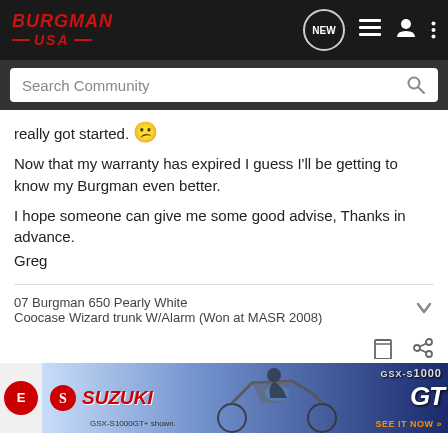BURGMAN USA - navigation bar with search
really got started. 😕
Now that my warranty has expired I guess I'll be getting to know my Burgman even better.
I hope someone can give me some good advise, Thanks in advance.
Greg
07 Burgman 650 Pearly White
Coocase Wizard trunk W/Alarm (Won at MASR 2008)
[Figure (screenshot): Suzuki GSX-S1000 GT advertisement banner at bottom of page]